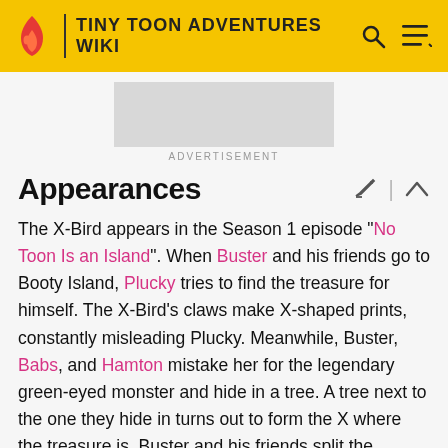TINY TOON ADVENTURES WIKI
[Figure (other): Advertisement placeholder banner (gray rectangle)]
ADVERTISEMENT
Appearances
The X-Bird appears in the Season 1 episode "No Toon Is an Island". When Buster and his friends go to Booty Island, Plucky tries to find the treasure for himself. The X-Bird's claws make X-shaped prints, constantly misleading Plucky. Meanwhile, Buster, Babs, and Hamton mistake her for the legendary green-eyed monster and hide in a tree. A tree next to the one they hide in turns out to form the X where the treasure is. Buster and his friends split the treasure evenly. That night, the X-Bird steals Babs', Plucky's, and Hamton's shares of the treasure. The next